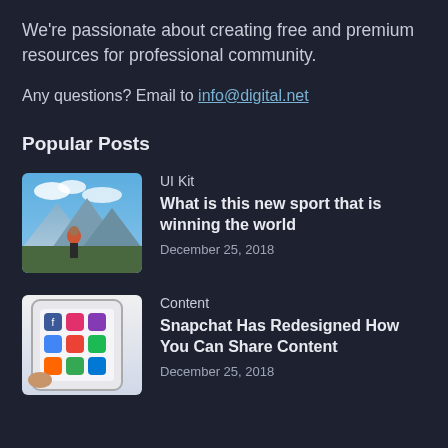We're passionate about creating free and premium resources for professional community.
Any questions? Email to info@digital.net
Popular Posts
[Figure (photo): Thumbnail of a person hiking in mountains with blue sky and clouds]
UI Kit
What is this new sport that is winning the world
December 25, 2018
[Figure (photo): Thumbnail of a tablet showing social media app icons]
Content
Snapchat Has Redesigned How You Can Share Content
December 25, 2018